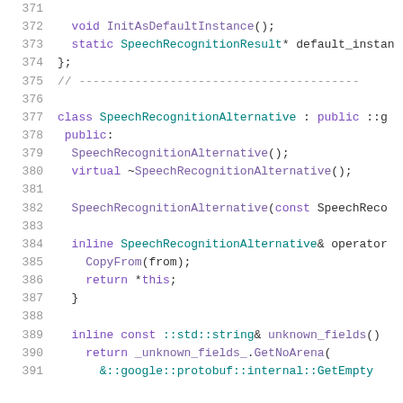[Figure (screenshot): C++ source code listing showing lines 371-391, featuring class SpeechRecognitionAlternative definition with constructors, operators, and method declarations using Google protobuf.]